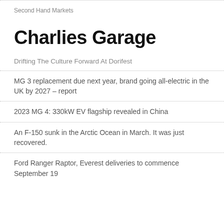Second Hand Markets
Charlies Garage
Drifting The Culture Forward At Dorifest
MG 3 replacement due next year, brand going all-electric in the UK by 2027 – report
2023 MG 4: 330kW EV flagship revealed in China
An F-150 sunk in the Arctic Ocean in March. It was just recovered.
Ford Ranger Raptor, Everest deliveries to commence September 19